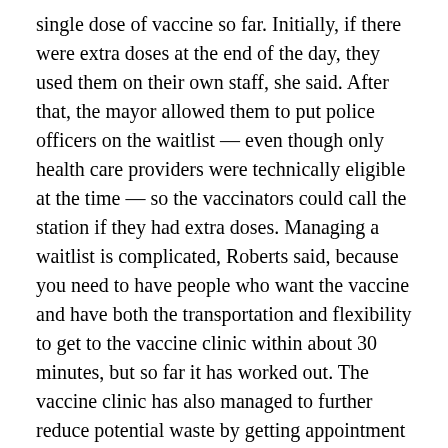single dose of vaccine so far. Initially, if there were extra doses at the end of the day, they used them on their own staff, she said. After that, the mayor allowed them to put police officers on the waitlist — even though only health care providers were technically eligible at the time — so the vaccinators could call the station if they had extra doses. Managing a waitlist is complicated, Roberts said, because you need to have people who want the vaccine and have both the transportation and flexibility to get to the vaccine clinic within about 30 minutes, but so far it has worked out. The vaccine clinic has also managed to further reduce potential waste by getting appointment confirmations and defrosting vaccine vials close to appointment times, she said.
An Ohio Department of Health spokesperson said the state requires providers to report waste, and that 165 doses of the vaccine had been recorded as wastage as of Jan. 15.